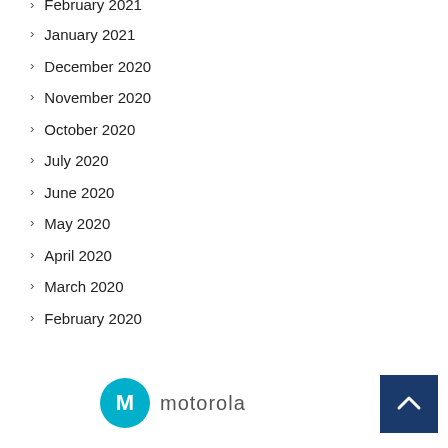February 2021
January 2021
December 2020
November 2020
October 2020
July 2020
June 2020
May 2020
April 2020
March 2020
February 2020
[Figure (logo): Motorola logo with teal circle containing M symbol and 'motorola' wordmark]
[Figure (other): Dark blue back-to-top button with white upward chevron arrow]